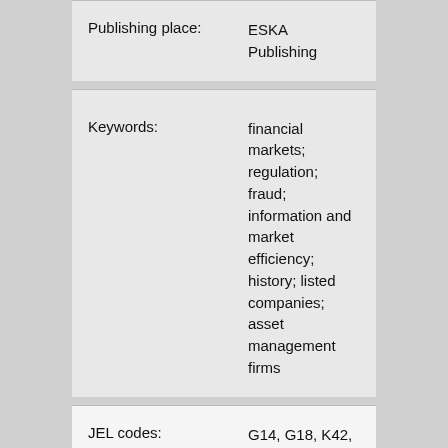| Publishing place: | ESKA Publishing |
| Keywords: | financial markets; regulation; fraud; information and market efficiency; history; listed companies; asset management firms |
| JEL codes: | G14, G18, K42, N24 |
| Suggested Citation: | de Batz, L., "Financial Sanctions in France – 2004-2016", Bankers, Markets & Investors Vol. 149 (Juil-Aug), pp. 62-71. |
|  | The French Financial Market Authority published 308 sanction decisions from its creation in 2004 until late 2016, mostly resulting in a guilty verdict (90%) |